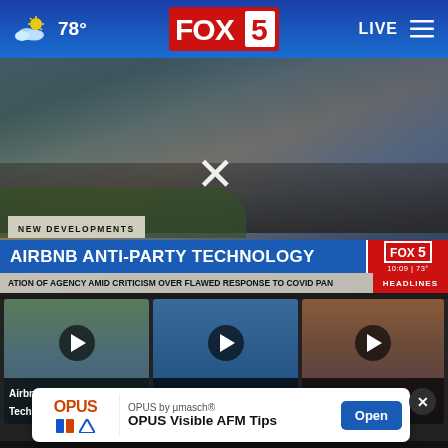78° FOX 5 LIVE
[Figure (screenshot): FOX 5 news broadcast screenshot showing houses on a hillside with a lower-third chyron reading 'AIRBNB ANTI-PARTY TECHNOLOGY' and ticker 'ATION OF AGENCY AMID CRITICISM OVER FLAWED RESPONSE TO COVID PAN']
[Figure (screenshot): Video thumbnail for 'Airbnb Anti-Party Technology' story with play button]
[Figure (screenshot): Video thumbnail for 'Preventing Cross-Border Security' story with play button]
[Figure (screenshot): Video thumbnail for 'Elderly Killed' story with play button]
Airbnb Anti-Party Tech...
Preventing Cross-Border...
Elderly Killed
OPUS by µmasch® OPUS Visible AFM Tips Open